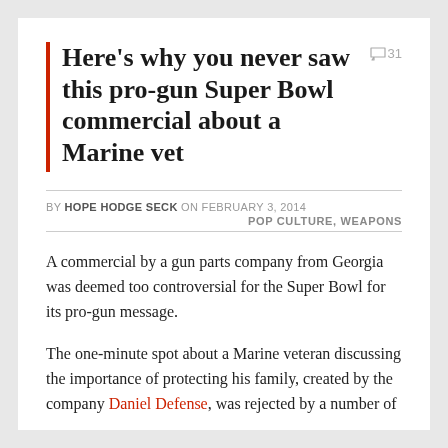Here's why you never saw this pro-gun Super Bowl commercial about a Marine vet
BY HOPE HODGE SECK ON FEBRUARY 3, 2014
POP CULTURE, WEAPONS
A commercial by a gun parts company from Georgia was deemed too controversial for the Super Bowl for its pro-gun message.
The one-minute spot about a Marine veteran discussing the importance of protecting his family, created by the company Daniel Defense, was rejected by a number of